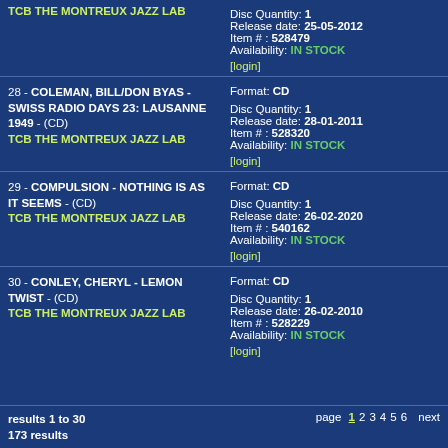27 - TCB THE MONTREUX JAZZ LAB - Format: CD, Disc Quantity: 1, Release date: 25-05-2012, Item #: 528479, Availability: IN STOCK
28 - COLEMAN, BILL/DON BYAS - SWISS RADIO DAYS 23: LAUSANNE 1949 - (CD) TCB THE MONTREUX JAZZ LAB - Format: CD, Disc Quantity: 1, Release date: 28-01-2011, Item #: 528320, Availability: IN STOCK
29 - COMPULSION - NOTHING IS AS IT SEEMS - (CD) TCB THE MONTREUX JAZZ LAB - Format: CD, Disc Quantity: 1, Release date: 26-02-2020, Item #: 540162, Availability: IN STOCK
30 - CONLEY, CHERYL - LEMON TWIST - (CD) TCB THE MONTREUX JAZZ LAB - Format: CD, Disc Quantity: 1, Release date: 26-02-2010, Item #: 528229, Availability: IN STOCK
results 1 to 30 / 173 results | page 1 2 3 4 5 6 next